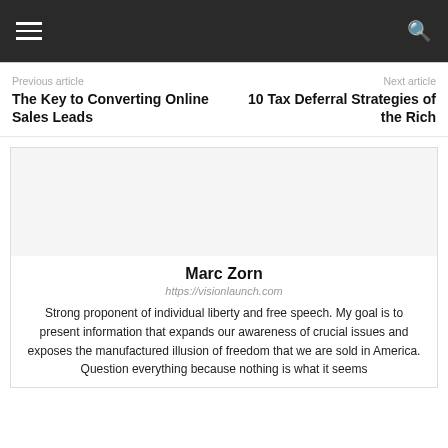☰  🔍
Previous article
The Key to Converting Online Sales Leads
Next article
10 Tax Deferral Strategies of the Rich
Marc Zorn
https://visionlaunch.com
Strong proponent of individual liberty and free speech. My goal is to present information that expands our awareness of crucial issues and exposes the manufactured illusion of freedom that we are sold in America. Question everything because nothing is what it seems